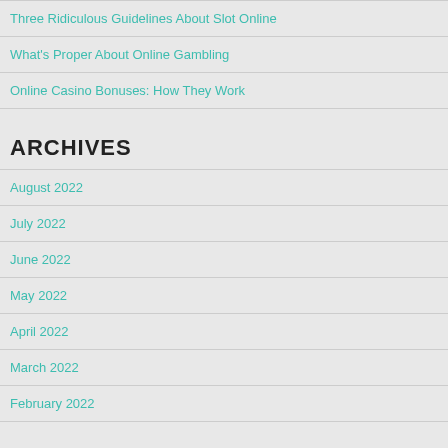Three Ridiculous Guidelines About Slot Online
What's Proper About Online Gambling
Online Casino Bonuses: How They Work
ARCHIVES
August 2022
July 2022
June 2022
May 2022
April 2022
March 2022
February 2022